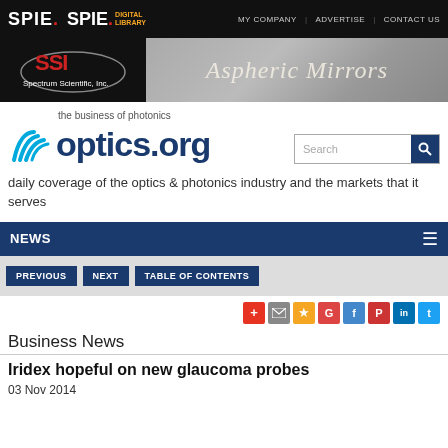SPIE. SPIE. DIGITAL LIBRARY | MY COMPANY | ADVERTISE | CONTACT US
[Figure (logo): SSI Spectrum Scientific Inc. advertisement banner for Aspheric Mirrors]
[Figure (logo): optics.org logo with tagline: the business of photonics]
daily coverage of the optics & photonics industry and the markets that it serves
NEWS
PREVIOUS | NEXT | TABLE OF CONTENTS
[Figure (other): Social sharing icons: +, email, star, G, f, P, in, Twitter]
Business News
Iridex hopeful on new glaucoma probes
03 Nov 2014